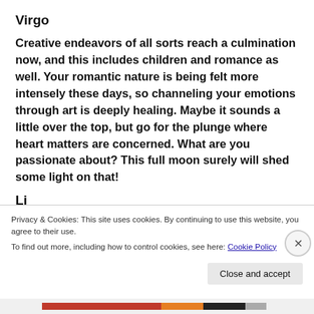Virgo
Creative endeavors of all sorts reach a culmination now, and this includes children and romance as well. Your romantic nature is being felt more intensely these days, so channeling your emotions through art is deeply healing. Maybe it sounds a little over the top, but go for the plunge where heart matters are concerned. What are you passionate about? This full moon surely will shed some light on that!
Privacy & Cookies: This site uses cookies. By continuing to use this website, you agree to their use.
To find out more, including how to control cookies, see here: Cookie Policy